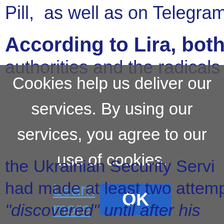Pill, as well as on Telegram and
According to Lira, both the Uk
authorities and the radicals h
Cookies help us deliver our services. By using our services, you agree to our use of cookies. Learn more
[Figure (screenshot): Cookie consent overlay dialog with dark semi-transparent background showing cookie notice text and OK button]